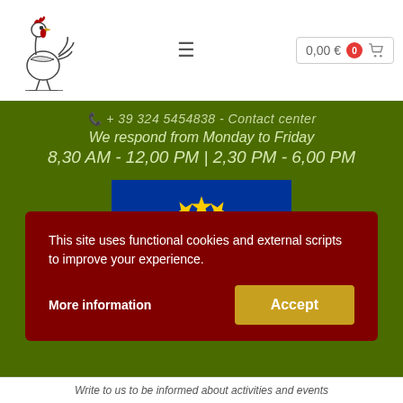[Figure (logo): Rooster/cockerel logo illustration in dark ink]
0,00 € 0
+ 39 324 5454838 - Contact center
We respond from Monday to Friday
8,30 AM - 12,00 PM | 2,30 PM - 6,00 PM
[Figure (illustration): European Union flag — blue field with circle of 12 yellow stars]
This site uses functional cookies and external scripts to improve your experience.
More information
Accept
Write to us to be informed about activities and events